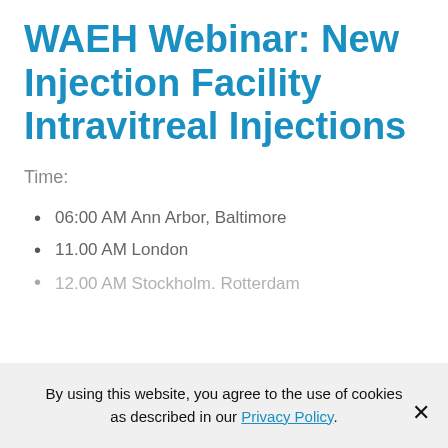WAEH Webinar: New Injection Facility Intravitreal Injections
Time:
06:00 AM Ann Arbor, Baltimore
11.00 AM London
12.00 AM Stockholm, Rotterdam (partial, clipped)
By using this website, you agree to the use of cookies as described in our Privacy Policy.